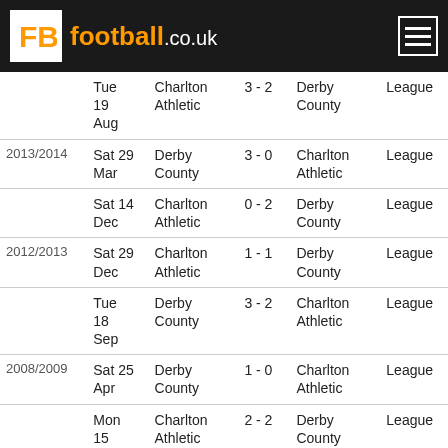[Figure (logo): FB Football.co.uk logo on dark header bar with hamburger menu button]
| Season | Date | Home | Score | Away | Type |
| --- | --- | --- | --- | --- | --- |
|  | Tue 19 Aug | Charlton Athletic | 3 - 2 | Derby County | League |
| 2013/2014 | Sat 29 Mar | Derby County | 3 - 0 | Charlton Athletic | League |
|  | Sat 14 Dec | Charlton Athletic | 0 - 2 | Derby County | League |
| 2012/2013 | Sat 29 Dec | Charlton Athletic | 1 - 1 | Derby County | League |
|  | Tue 18 Sep | Derby County | 3 - 2 | Charlton Athletic | League |
| 2008/2009 | Sat 25 Apr | Derby County | 1 - 0 | Charlton Athletic | League |
|  | Mon 15 Dec | Charlton Athletic | 2 - 2 | Derby County | League |